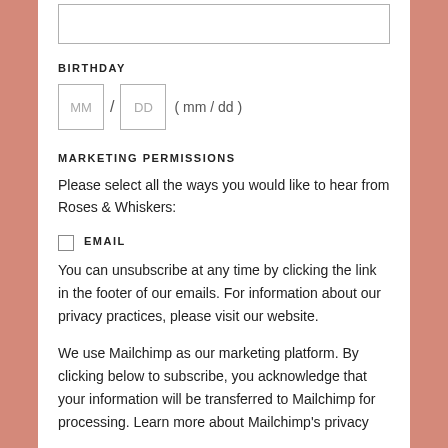[Input field]
BIRTHDAY
MM / DD ( mm / dd )
MARKETING PERMISSIONS
Please select all the ways you would like to hear from Roses & Whiskers:
EMAIL — You can unsubscribe at any time by clicking the link in the footer of our emails. For information about our privacy practices, please visit our website.
We use Mailchimp as our marketing platform. By clicking below to subscribe, you acknowledge that your information will be transferred to Mailchimp for processing. Learn more about Mailchimp's privacy practices.